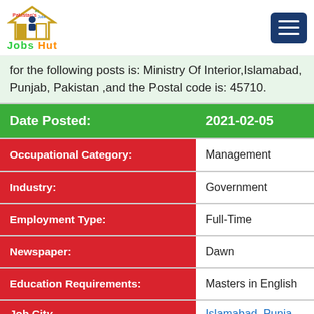[Figure (logo): Jobs Hut logo with house/job icon and green and orange text]
for the following posts is: Ministry Of Interior,Islamabad, Punjab, Pakistan ,and the Postal code is: 45710.
| Date Posted: | 2021-02-05 |
| --- | --- |
| Occupational Category: | Management |
| Industry: | Government |
| Employment Type: | Full-Time |
| Newspaper: | Dawn |
| Education Requirements: | Masters in English |
| Job City | Islamabad, Punjab... |